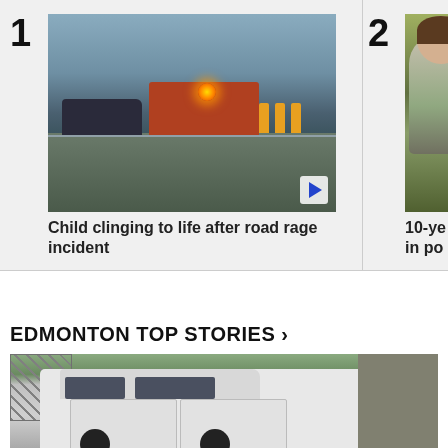[Figure (photo): News story #1: Road accident scene with tow truck, emergency vehicles with orange lights, and firefighters on a highway. A dark vehicle is on the left side.]
Child clinging to life after road rage incident
[Figure (photo): News story #2: Partially visible image of a child, appears to be a young boy in a green/teal shirt looking to the side.]
10-ye... in po...
EDMONTON TOP STORIES >
[Figure (photo): Bottom news image: A white pickup truck/SUV parked near a chain-link fence, viewed from the side. Part of a news story about Edmonton.]